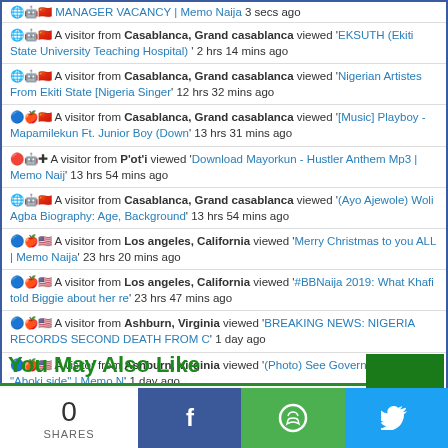MANAGER VACANCY | Memo Naija 3 secs ago
A visitor from Casablanca, Grand casablanca viewed 'EKSUTH (Ekiti State University Teaching Hospital)' 2 hrs 14 mins ago
A visitor from Casablanca, Grand casablanca viewed 'Nigerian Artistes From Ekiti State [Nigeria Singer' 12 hrs 32 mins ago
A visitor from Casablanca, Grand casablanca viewed '[Music] Playboy - Mapamilekun Ft. Junior Boy (Down' 13 hrs 31 mins ago
A visitor from P'ot'i viewed 'Download Mayorkun - Hustler Anthem Mp3 | Memo Naij' 13 hrs 54 mins ago
A visitor from Casablanca, Grand casablanca viewed '(Ayo Ajewole) Woli Agba Biography: Age, Background' 13 hrs 54 mins ago
A visitor from Los angeles, California viewed 'Merry Christmas to you ALL | Memo Naija' 23 hrs 20 mins ago
A visitor from Los angeles, California viewed '#BBNaija 2019: What Khafi told Biggie about her re' 23 hrs 47 mins ago
A visitor from Ashburn, Virginia viewed 'BREAKING NEWS: NIGERIA RECORDS SECOND DEATH FROM C' 1 day ago
A visitor from Ashburn, Virginia viewed '(Photo) See Governor Bello's "Aboki side" | Memo N' 1 day ago
Real-time | Get Script | More Info
You May Also Like
0 SHARES